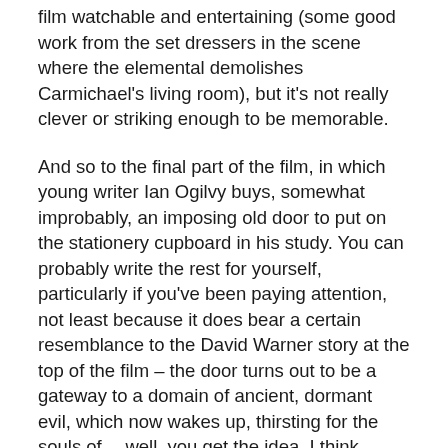film watchable and entertaining (some good work from the set dressers in the scene where the elemental demolishes Carmichael's living room), but it's not really clever or striking enough to be memorable.
And so to the final part of the film, in which young writer Ian Ogilvy buys, somewhat improbably, an imposing old door to put on the stationery cupboard in his study. You can probably write the rest for yourself, particularly if you've been paying attention, not least because it does bear a certain resemblance to the David Warner story at the top of the film – the door turns out to be a gateway to a domain of ancient, dormant evil, which now wakes up, thirsting for the souls of… well, you get the idea, I think.
Still, the production values aren't bad and the story also manages to distinguish itself by having the closest thing to